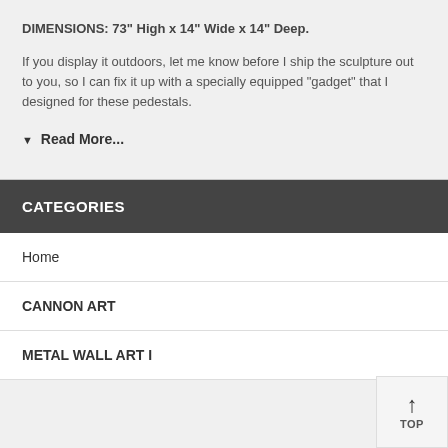DIMENSIONS: 73" High x 14" Wide x 14" Deep.
If you display it outdoors, let me know before I ship the sculpture out to you, so I can fix it up with a specially equipped "gadget" that I designed for these pedestals.
▼ Read More...
CATEGORIES
Home
CANNON ART
METAL WALL ART I